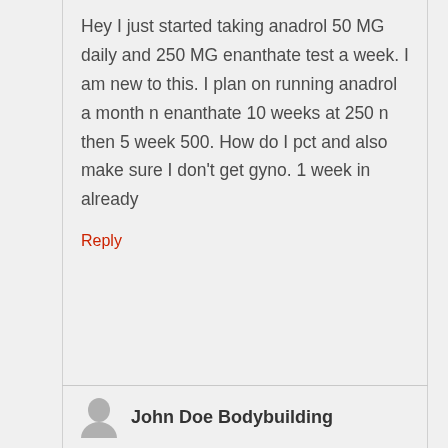Hey I just started taking anadrol 50 MG daily and 250 MG enanthate test a week. I am new to this. I plan on running anadrol a month n enanthate 10 weeks at 250 n then 5 week 500. How do I pct and also make sure I don't get gyno. 1 week in already
Reply
John Doe Bodybuilding